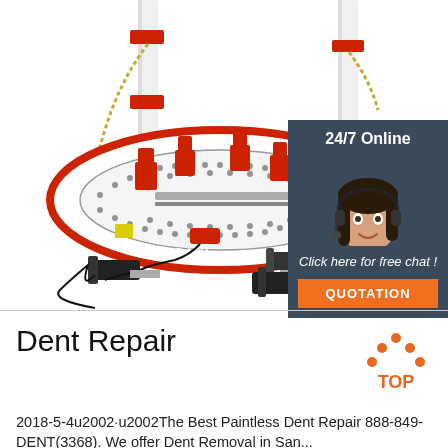[Figure (photo): Auto body frame straightening machine (SLD-L3H) with red and white oval track platform, multiple pulling towers with chains, and foot pedal controllers on a white background.]
[Figure (photo): Customer service agent — smiling woman with headset — overlaid on dark slate background with '24/7 Online' header and 'Click here for free chat!' call-to-action and orange QUOTATION button.]
Dent Repair
2018-5-4u2002·u2002The Best Paintless Dent Repair 888-849-DENT(3368). We offer Dent Removal in San...